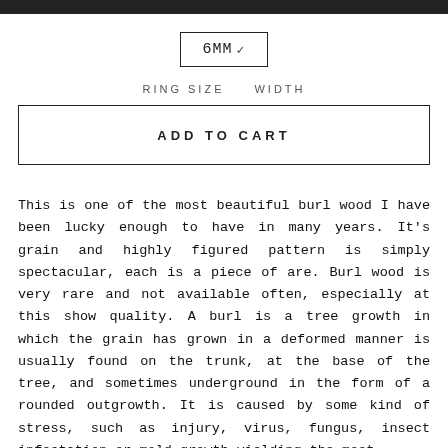6MM∨
RING SIZE   WIDTH
ADD TO CART
This is one of the most beautiful burl wood I have been lucky enough to have in many years. It's grain and highly figured pattern is simply spectacular, each is a piece of are. Burl wood is very rare and not available often, especially at this show quality. A burl is a tree growth in which the grain has grown in a deformed manner is usually found on the trunk, at the base of the tree, and sometimes underground in the form of a rounded outgrowth. It is caused by some kind of stress, such as injury, virus, fungus, insect infestation or mold growth yielding the most